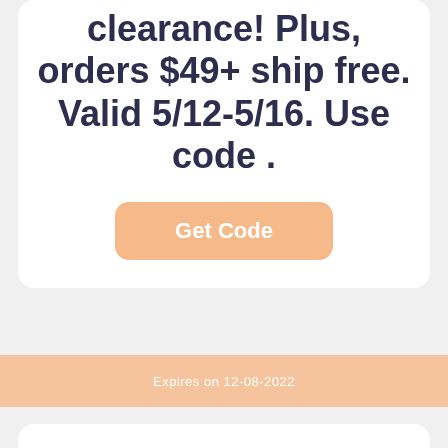clearance! Plus, orders $49+ ship free. Valid 5/12-5/16. Use code .
Get Code
Expires on 12-08-2022
50% Off Tops, 40% off Denim & 30% off the rest of the site! Plus, orders